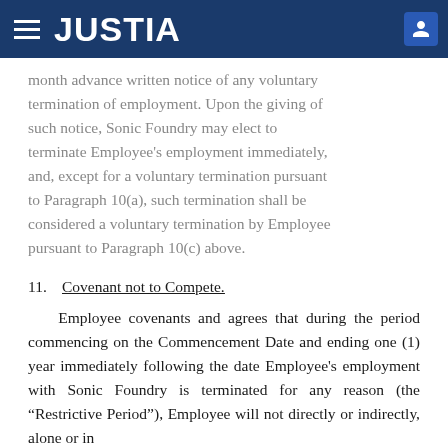JUSTIA
month advance written notice of any voluntary termination of employment. Upon the giving of such notice, Sonic Foundry may elect to terminate Employee's employment immediately, and, except for a voluntary termination pursuant to Paragraph 10(a), such termination shall be considered a voluntary termination by Employee pursuant to Paragraph 10(c) above.
11.  Covenant not to Compete.
Employee covenants and agrees that during the period commencing on the Commencement Date and ending one (1) year immediately following the date Employee's employment with Sonic Foundry is terminated for any reason (the “Restrictive Period”), Employee will not directly or indirectly, alone or in